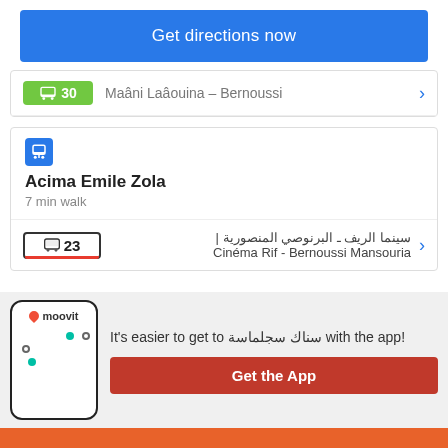Get directions now
30  Maâni Laâouina – Bernoussi
[Figure (screenshot): Bus stop card for Acima Emile Zola, 7 min walk, with route 23 Cinéma Rif - Bernoussi Mansouria]
Acima Emile Zola
7 min walk
23  | سينما الريف ـ البرنوصي المنصورية
Cinéma Rif - Bernoussi Mansouria
It's easier to get to سناك سجلماسة with the app!
Get the App